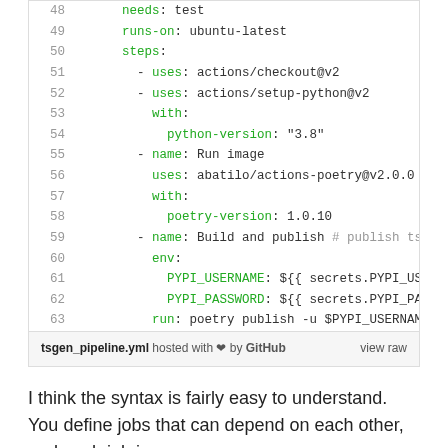[Figure (screenshot): Code block showing YAML pipeline configuration lines 48-63 with line numbers, keywords in green/teal, values in dark, and a footer showing 'tsgen_pipeline.yml hosted with ❤ by GitHub' and 'view raw'.]
I think the syntax is fairly easy to understand. You define jobs that can depend on each other, and each job is